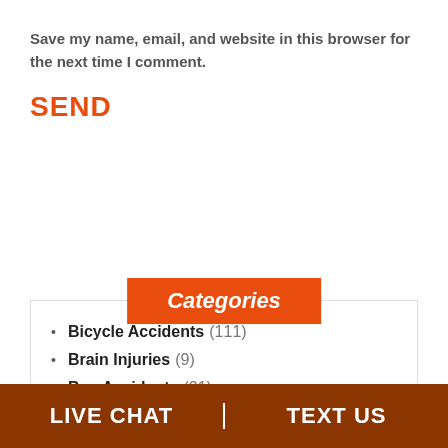Save my name, email, and website in this browser for the next time I comment.
SEND
Categories
Bicycle Accidents (111)
Brain Injuries (9)
Bus Accidents (21)
Car Accidents (206)
LIVE CHAT   TEXT US